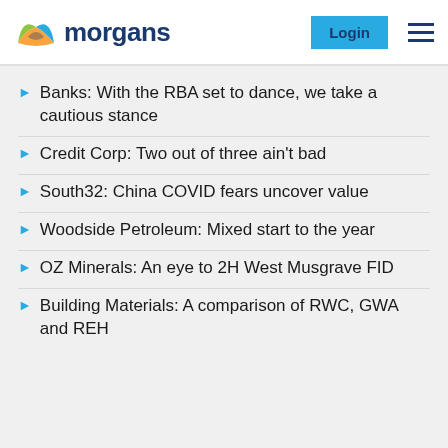[Figure (logo): Morgans financial logo with colorful M icon and blue 'morgans' text, Login button, and hamburger menu]
Banks: With the RBA set to dance, we take a cautious stance
Credit Corp: Two out of three ain't bad
South32: China COVID fears uncover value
Woodside Petroleum: Mixed start to the year
OZ Minerals: An eye to 2H West Musgrave FID
Building Materials: A comparison of RWC, GWA and REH